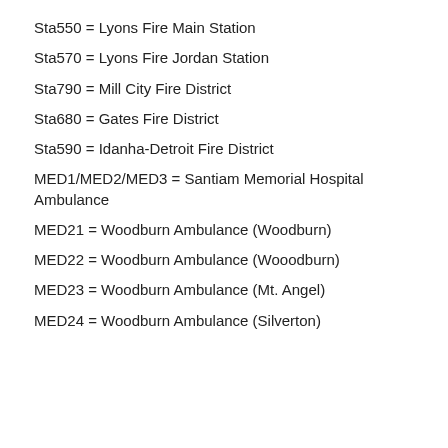Sta550 = Lyons Fire Main Station
Sta570 = Lyons Fire Jordan Station
Sta790 = Mill City Fire District
Sta680 = Gates Fire District
Sta590 = Idanha-Detroit Fire District
MED1/MED2/MED3 = Santiam Memorial Hospital Ambulance
MED21 = Woodburn Ambulance (Woodburn)
MED22 = Woodburn Ambulance (Wooodburn)
MED23 = Woodburn Ambulance (Mt. Angel)
MED24 = Woodburn Ambulance (Silverton)